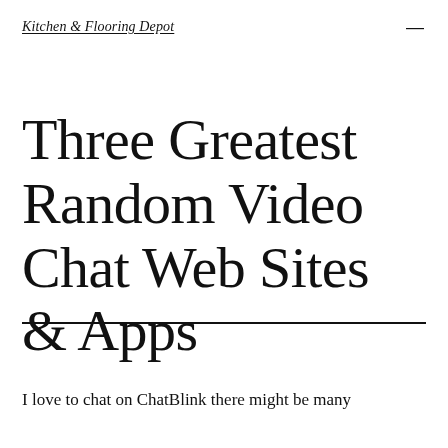Kitchen & Flooring Depot
Three Greatest Random Video Chat Web Sites & Apps
I love to chat on ChatBlink there might be many